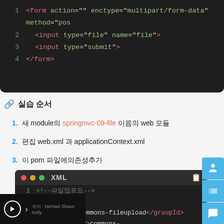[Figure (screenshot): Dark-themed code block showing HTML form with file upload fields, lines 1-4]
🔗 실습 순서
1. 새 module의 springmvc-09-file 이름의 web 모듈
2. 편집 web.xml 과 applicationContext.xml
3. 이 pom 파일에의존성추가
[Figure (screenshot): Dark-themed XML code block showing Maven dependency for commons-fileupload]